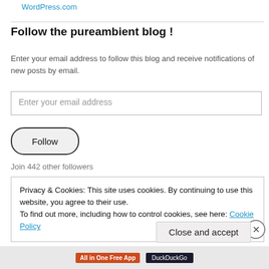WordPress.com
Follow the pureambient blog !
Enter your email address to follow this blog and receive notifications of new posts by email.
Enter your email address
Follow
Join 442 other followers
Privacy & Cookies: This site uses cookies. By continuing to use this website, you agree to their use.
To find out more, including how to control cookies, see here: Cookie Policy
Close and accept